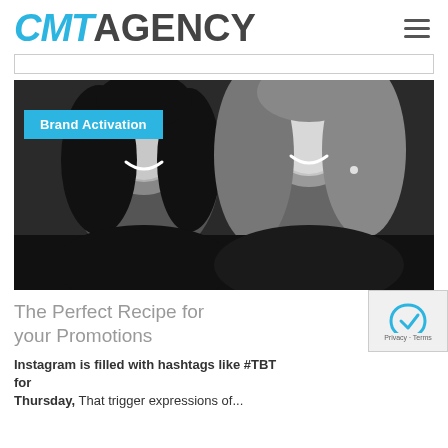CMT AGENCY
[Figure (photo): Black and white photo of two smiling women with a cyan 'Brand Activation' label overlay]
Brand Activation
The Perfect Recipe for your Promotions
Instagram is filled with hashtags like #TBT for Throwback Thursday, that trigger expressions of...